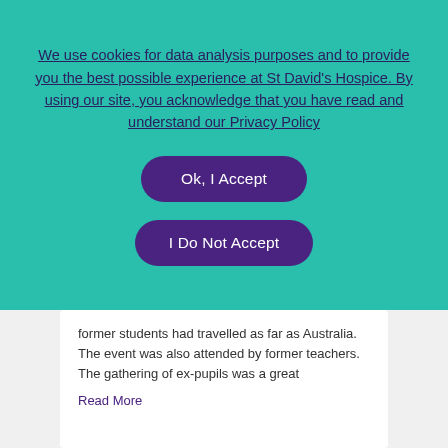We use cookies for data analysis purposes and to provide you the best possible experience at St David's Hospice. By using our site, you acknowledge that you have read and understand our Privacy Policy
Ok, I Accept
I Do Not Accept
former students had travelled as far as Australia. The event was also attended by former teachers. The gathering of ex-pupils was a great
Read More